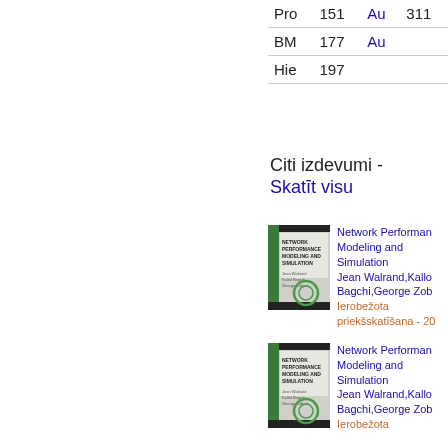| Pro | 151 | Au | 311 |
| BM | 177 | Au |  |
| Hie | 197 |  |  |
Citi izdevumi - Skatīt visu
[Figure (illustration): Book cover: Network Performance Modeling and Simulation, green and grey cover with circular design]
Network Performance Modeling and Simulation Jean Walrand,Kallo Bagchi,George Zob Ierobežota priekšskatīšana - 20
[Figure (illustration): Book cover: Network Performance Modeling and Simulation, green and grey cover with circular design]
Network Performance Modeling and Simulation Jean Walrand,Kallo Bagchi,George Zob Ierobežota